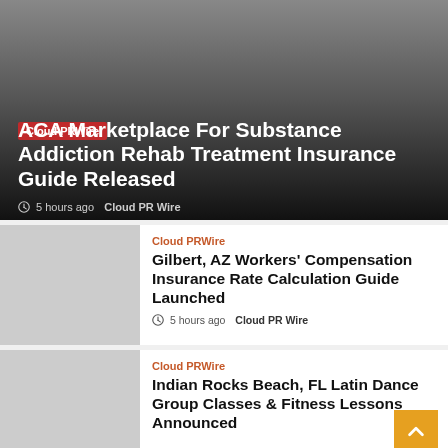[Figure (photo): Hero image with dark gradient overlay, grey to black]
Cloud PRWire
ACA Marketplace For Substance Addiction Rehab Treatment Insurance Guide Released
5 hours ago  Cloud PR Wire
[Figure (photo): Thumbnail image, light grey placeholder]
Cloud PRWire
Gilbert, AZ Workers' Compensation Insurance Rate Calculation Guide Launched
5 hours ago  Cloud PR Wire
[Figure (photo): Thumbnail image, light grey placeholder]
Cloud PRWire
Indian Rocks Beach, FL Latin Dance Group Classes & Fitness Lessons Announced